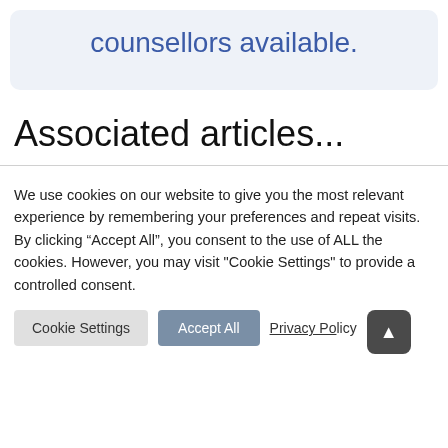counsellors available.
Associated articles...
We use cookies on our website to give you the most relevant experience by remembering your preferences and repeat visits. By clicking “Accept All”, you consent to the use of ALL the cookies. However, you may visit "Cookie Settings" to provide a controlled consent.
Cookie Settings | Accept All | Privacy Policy